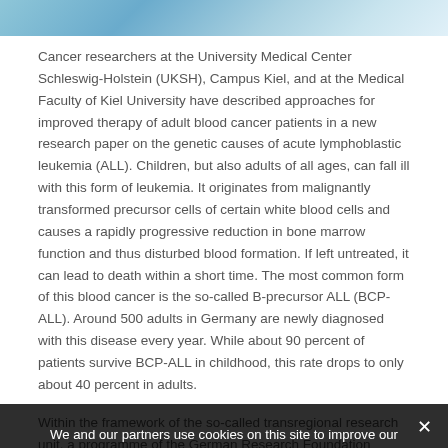[Figure (photo): Partial photo strip at top of page showing a medical/laboratory scene with blue and teal tones]
Cancer researchers at the University Medical Center Schleswig-Holstein (UKSH), Campus Kiel, and at the Medical Faculty of Kiel University have described approaches for improved therapy of adult blood cancer patients in a new research paper on the genetic causes of acute lymphoblastic leukemia (ALL). Children, but also adults of all ages, can fall ill with this form of leukemia. It originates from malignantly transformed precursor cells of certain white blood cells and causes a rapidly progressive reduction in bone marrow function and thus disturbed blood formation. If left untreated, it can lead to death within a short time. The most common form of this blood cancer is the so-called B-precursor ALL (BCP-ALL). Around 500 adults in Germany are newly diagnosed with this disease every year. While about 90 percent of patients survive BCP-ALL in childhood, this rate drops to only about 40 percent in adults.
Within the framework of the so-called transregional research unit, a special programme of the German Research Foundation (DFG), the clinicians and researchers, led by Professor Claudia Baldus and Dr. Lorenz Bastian from the Department of...
We and our partners use cookies on this site to improve our service, perform analytics, personalize advertising, measure advertising performance, and remember website preferences.